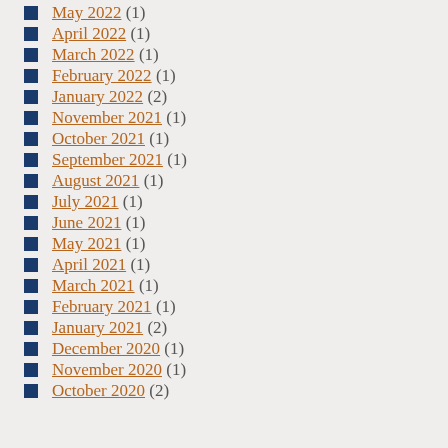May 2022 (1)
April 2022 (1)
March 2022 (1)
February 2022 (1)
January 2022 (2)
November 2021 (1)
October 2021 (1)
September 2021 (1)
August 2021 (1)
July 2021 (1)
June 2021 (1)
May 2021 (1)
April 2021 (1)
March 2021 (1)
February 2021 (1)
January 2021 (2)
December 2020 (1)
November 2020 (1)
October 2020 (2)